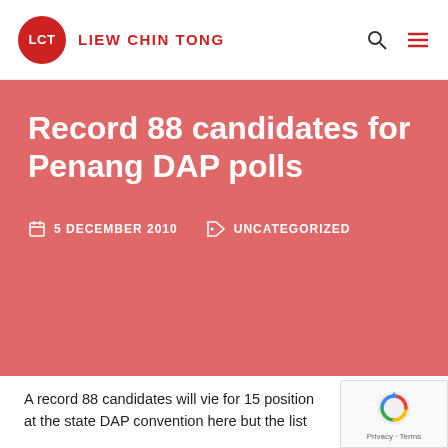LCT LIEW CHIN TONG
Record 88 candidates for Penang DAP polls
5 DECEMBER 2010  UNCATEGORIZED
A record 88 candidates will vie for 15 positions at the state DAP convention here but the list